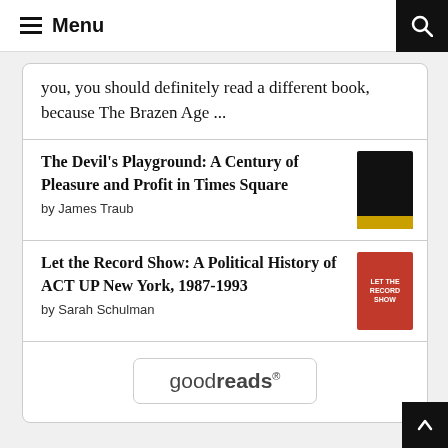Menu
you, you should definitely read a different book, because The Brazen Age ...
The Devil's Playground: A Century of Pleasure and Profit in Times Square
by James Traub
Let the Record Show: A Political History of ACT UP New York, 1987-1993
by Sarah Schulman
[Figure (logo): goodreads logo in a rounded rectangle button]
^